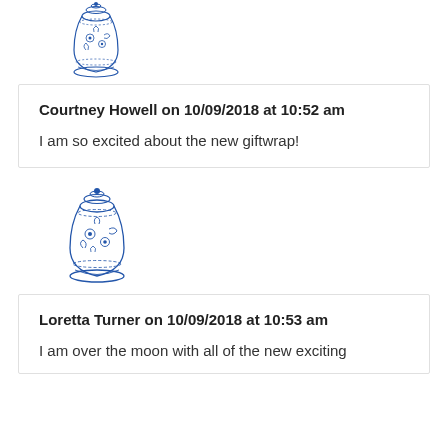[Figure (illustration): Blue and white decorative Chinese ginger jar / vase with floral pattern, small, top of page]
Courtney Howell on 10/09/2018 at 10:52 am
I am so excited about the new giftwrap!
[Figure (illustration): Blue and white decorative Chinese ginger jar / vase with floral pattern, larger, middle of page]
Loretta Turner on 10/09/2018 at 10:53 am
I am over the moon with all of the new exciting